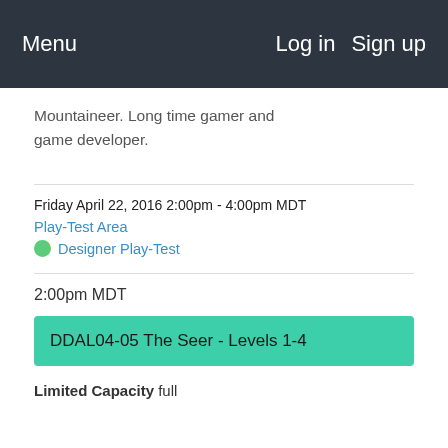Menu  Log in  Sign up
Mountaineer. Long time gamer and game developer.
Friday April 22, 2016 2:00pm - 4:00pm MDT
Play-Test Area
Designer Play-Test
2:00pm MDT
DDAL04-05 The Seer - Levels 1-4
Limited Capacity full